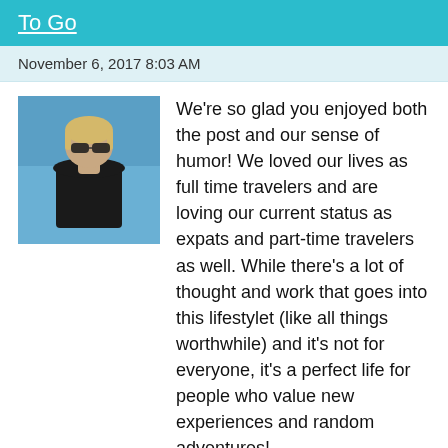To Go
November 6, 2017 8:03 AM
[Figure (photo): Profile photo of a woman with sunglasses outdoors near water]
We're so glad you enjoyed both the post and our sense of humor! We loved our lives as full time travelers and are loving our current status as expats and part-time travelers as well. While there's a lot of thought and work that goes into this lifestylet (like all things worthwhile) and it's not for everyone, it's a perfect life for people who value new experiences and random adventures!
Liked by 1 person
Reply